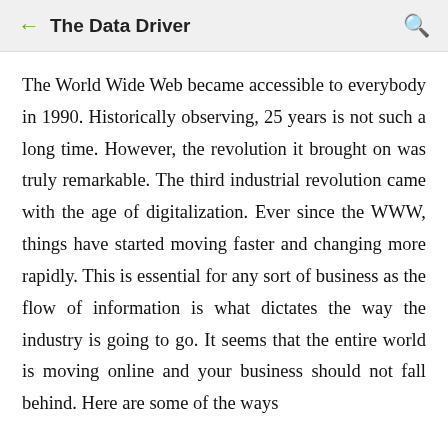The Data Driver
The World Wide Web became accessible to everybody in 1990. Historically observing, 25 years is not such a long time. However, the revolution it brought on was truly remarkable. The third industrial revolution came with the age of digitalization. Ever since the WWW, things have started moving faster and changing more rapidly. This is essential for any sort of business as the flow of information is what dictates the way the industry is going to go. It seems that the entire world is moving online and your business should not fall behind. Here are some of the ways